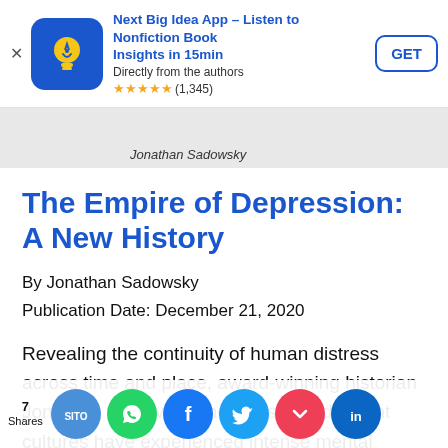[Figure (screenshot): App store advertisement banner for 'Next Big Idea App – Listen to Nonfiction Book Insights in 15min'. Directly from the authors. Rating: 4.5 stars (1,345). With a GET button.]
[Figure (photo): Book cover strip showing author name 'Jonathan Sadowsky']
The Empire of Depression: A New History
By Jonathan Sadowsky
Publication Date: December 21, 2020
Revealing the continuity of human distress across time and place, award-winning historian Jonathan Sadowsky shows us how different cultures have experienced intense mental anguish and how they relate to acute
[Figure (infographic): Social sharing bar with 7 Shares and icons: SITO, WhatsApp, Facebook, Twitter, Pocket, LinkedIn]